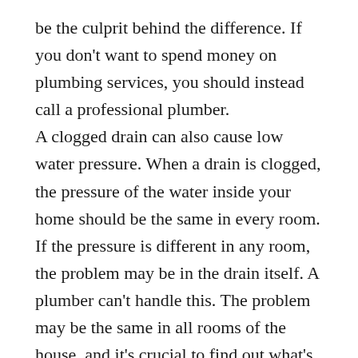be the culprit behind the difference. If you don't want to spend money on plumbing services, you should instead call a professional plumber. A clogged drain can also cause low water pressure. When a drain is clogged, the pressure of the water inside your home should be the same in every room. If the pressure is different in any room, the problem may be in the drain itself. A plumber can't handle this. The problem may be the same in all rooms of the house, and it's crucial to find out what's causing the difference. Fortunately, many drain problems are preventable. Most drain repairs can be avoided with some prevention. Try to avoid using your garbage disposal as a trash can. Don't put grease and oils down the drain. These substances can cause a clog in the drain. It's also